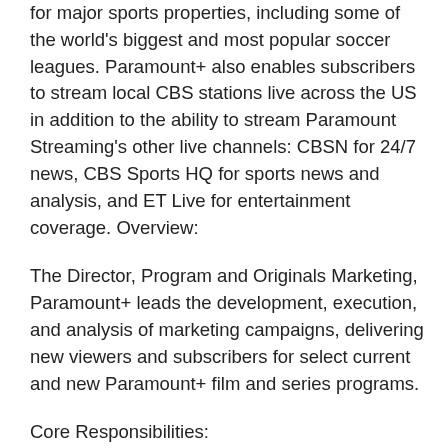for major sports properties, including some of the world's biggest and most popular soccer leagues. Paramount+ also enables subscribers to stream local CBS stations live across the US in addition to the ability to stream Paramount Streaming's other live channels: CBSN for 24/7 news, CBS Sports HQ for sports news and analysis, and ET Live for entertainment coverage. Overview:
The Director, Program and Originals Marketing, Paramount+ leads the development, execution, and analysis of marketing campaigns, delivering new viewers and subscribers for select current and new Paramount+ film and series programs.
Core Responsibilities:
• Developing go-to-market plans and marketing tactics